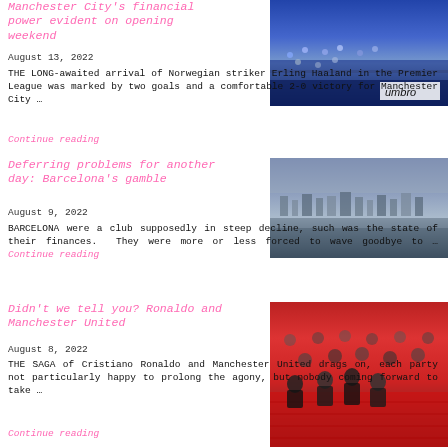Manchester City's financial power evident on opening weekend
August 13, 2022
THE LONG-awaited arrival of Norwegian striker Erling Haaland in the Premier League was marked by two goals and a comfortable 2-0 victory for Manchester City …
Continue reading
[Figure (photo): Crowd at Manchester City football match, stadium filled with supporters]
Deferring problems for another day: Barcelona's gamble
August 9, 2022
BARCELONA were a club supposedly in steep decline, such was the state of their finances.  They were more or less forced to wave goodbye to … Continue reading
[Figure (photo): Aerial view of Barcelona cityscape]
Didn't we tell you? Ronaldo and Manchester United
August 8, 2022
THE SAGA of Cristiano Ronaldo and Manchester United drags on, each party not particularly happy to prolong the agony, but nobody coming forward to take …
Continue reading
[Figure (photo): Manchester United players seated in red seats, dugout area]